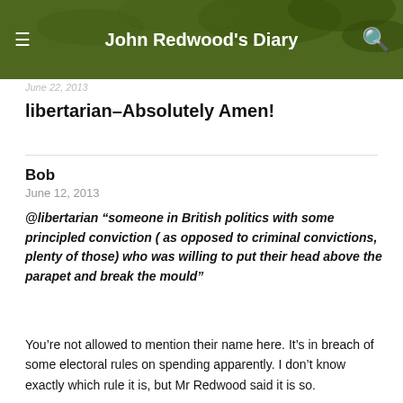John Redwood's Diary
June 22, 2013
libertarian–Absolutely Amen!
Bob
June 12, 2013
@libertarian “someone in British politics with some principled conviction ( as opposed to criminal convictions, plenty of those) who was willing to put their head above the parapet and break the mould”
You’re not allowed to mention their name here. It’s in breach of some electoral rules on spending apparently. I don’t know exactly which rule it is, but Mr Redwood said it is so.